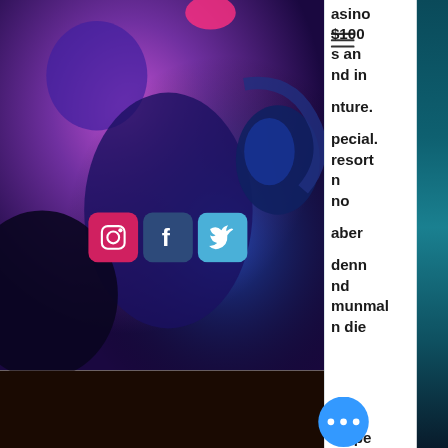[Figure (photo): A person wearing headphones in a purple/blue neon-lit photography setup, viewed from behind/side angle. DJ or music-related scene with vivid purple and blue lighting.]
[Figure (photo): Three social media icons overlaid on the photo: Instagram (pink/red), Facebook (dark blue), Twitter (light blue)]
[Figure (photo): Teal/dark blue background panel on the right side of the page]
asino $100 s an nd in nture. pecial. resort n no aber enn nd munmal n die umpe mit
[Figure (infographic): Blue circular chat bubble button with three white dots (ellipsis)]